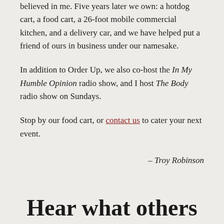believed in me. Five years later we own: a hotdog cart, a food cart, a 26-foot mobile commercial kitchen, and a delivery car, and we have helped put a friend of ours in business under our namesake.
In addition to Order Up, we also co-host the In My Humble Opinion radio show, and I host The Body radio show on Sundays.
Stop by our food cart, or contact us to cater your next event.
– Troy Robinson
Hear what others are